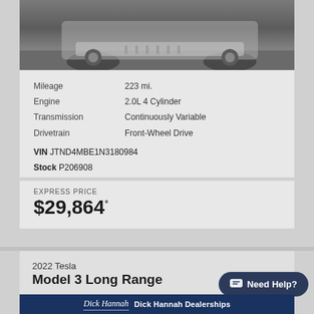[Figure (photo): Partial view of a car (front lower section and wheel) photographed on pavement, shown in grayscale tones]
Mileage	223 mi.
Engine	2.0L 4 Cylinder
Transmission	Continuously Variable
Drivetrain	Front-Wheel Drive
VIN JTND4MBE1N3180984
Stock P206908
EXPRESS PRICE
$29,864*
2022 Tesla
Model 3 Long Range
Need Help?
Dick Hannah  Dick Hannah Dealerships